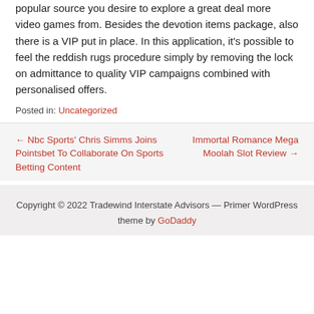popular source you desire to explore a great deal more video games from. Besides the devotion items package, also there is a VIP put in place. In this application, it's possible to feel the reddish rugs procedure simply by removing the lock on admittance to quality VIP campaigns combined with personalised offers.
Posted in: Uncategorized
← Nbc Sports' Chris Simms Joins Pointsbet To Collaborate On Sports Betting Content
Immortal Romance Mega Moolah Slot Review →
Copyright © 2022 Tradewind Interstate Advisors — Primer WordPress theme by GoDaddy